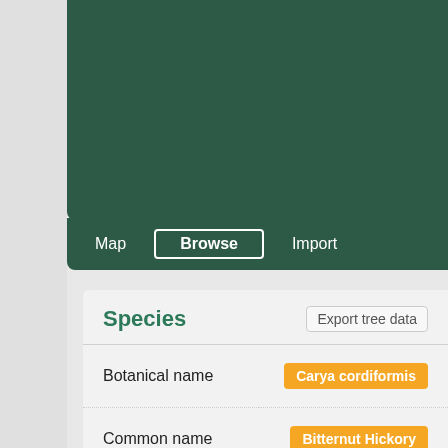Map | Browse | Import
Species
Export tree data
| Field | Value |
| --- | --- |
| Botanical name | Carya cordiformis |
| Common name | Bitternut Hickory |
| Max height | 166.3 |
| Max girth | 208 |
| Max crown spread | 98.3 |